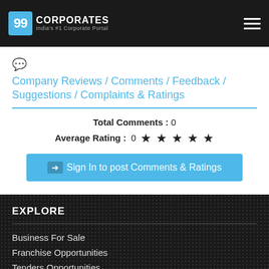99 CORPORATES — India's #1 Corporate Portal
Company Reviews / Comments / Feedback / Suggestions / Complaints & Ratings
Total Comments : 0
Average Rating : 0 ★ ★ ★ ★ ★
Sign In to post Comments & Ratings
EXPLORE
Business For Sale
Franchise Opportunities
Tenders Opportunities